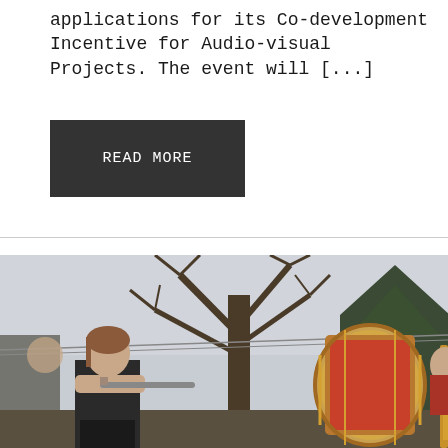applications for its Co-development Incentive for Audio-visual Projects. The event will [...]
READ MORE
[Figure (photo): Outdoor scene with a woman playing a flute in the foreground, large decorated drums visible behind her, bare trees and evergreen trees in the background under a grey sky.]